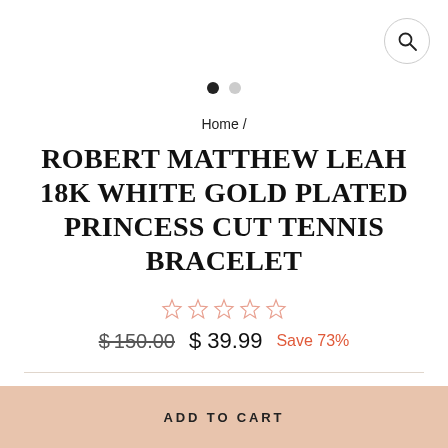[Figure (other): Search icon button (magnifying glass) in a circular border, top-right corner]
[Figure (other): Pagination dots: one filled black dot and one gray dot, indicating image carousel position]
Home /
ROBERT MATTHEW LEAH 18K WHITE GOLD PLATED PRINCESS CUT TENNIS BRACELET
[Figure (other): Five empty star rating icons in light salmon/orange color]
$150.00  $ 39.99  Save 73%
QUANTITY
[Figure (other): Quantity selector control with minus button, value 1, and plus button]
ADD TO CART